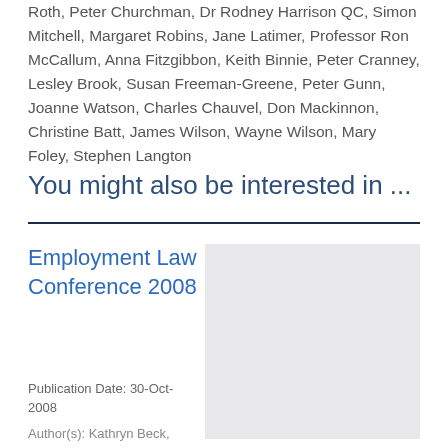Roth, Peter Churchman, Dr Rodney Harrison QC, Simon Mitchell, Margaret Robins, Jane Latimer, Professor Ron McCallum, Anna Fitzgibbon, Keith Binnie, Peter Cranney, Lesley Brook, Susan Freeman-Greene, Peter Gunn, Joanne Watson, Charles Chauvel, Don Mackinnon, Christine Batt, James Wilson, Wayne Wilson, Mary Foley, Stephen Langton
You might also be interested in ...
Employment Law Conference 2008
[Figure (other): Book or publication cover image placeholder (grey rectangle)]
Publication Date: 30-Oct-2008
Author(s): Kathryn Beck, Andrew Scott-Howman, Rob Towner, Danny...